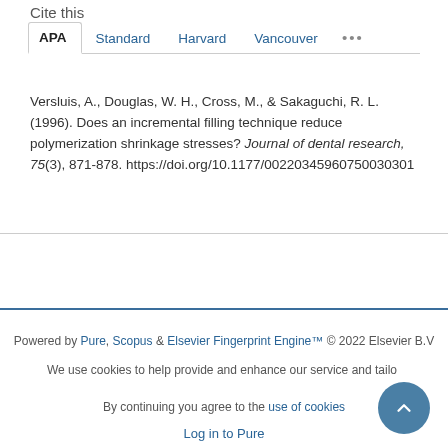Cite this
APA   Standard   Harvard   Vancouver   ...
Versluis, A., Douglas, W. H., Cross, M., & Sakaguchi, R. L. (1996). Does an incremental filling technique reduce polymerization shrinkage stresses? Journal of dental research, 75(3), 871-878. https://doi.org/10.1177/00220345960750030301
Powered by Pure, Scopus & Elsevier Fingerprint Engine™ © 2022 Elsevier B.V
We use cookies to help provide and enhance our service and tailor content. By continuing you agree to the use of cookies
Log in to Pure